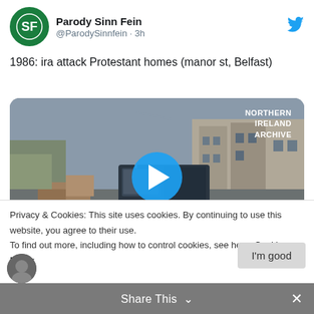Parody Sinn Fein @ParodySinnfein · 3h
1986: ira attack Protestant homes (manor st, Belfast)
[Figure (screenshot): Video thumbnail showing a street scene with a dark van, terraced houses, and a play button overlay. Watermark reads NORTHERN IRELAND ARCHIVE.]
Privacy & Cookies: This site uses cookies. By continuing to use this website, you agree to their use.
To find out more, including how to control cookies, see here: Cookie Policy
I'm good
Share This